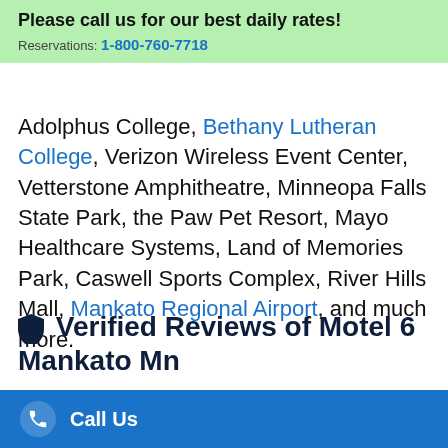Please call us for our best daily rates!
Reservations: 1-800-760-7718
Adolphus College, Bethany Lutheran College, Verizon Wireless Event Center, Vetterstone Amphitheatre, Minneopa Falls State Park, the Paw Pet Resort, Mayo Healthcare Systems, Land of Memories Park, Caswell Sports Complex, River Hills Mall, Mankato Regional Airport, and much more.
Verified Reviews of Motel 6 Mankato Mn
Below are the verified reviews from guests that we have booked recently:
Call Us